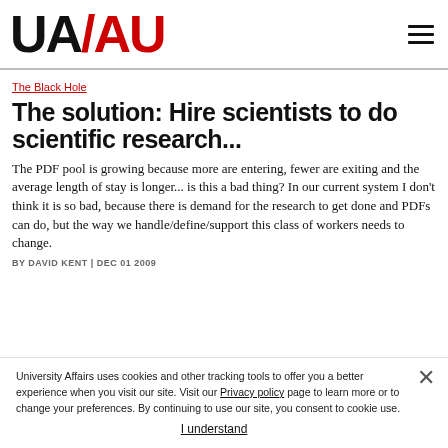[Figure (logo): UA/AU university affairs logo in black and red]
The Black Hole
The solution: Hire scientists to do scientific research...
The PDF pool is growing because more are entering, fewer are exiting and the average length of stay is longer... is this a bad thing? In our current system I don't think it is so bad, because there is demand for the research to get done and PDFs can do, but the way we handle/define/support this class of workers needs to change.
BY DAVID KENT | DEC 01 2009
University Affairs uses cookies and other tracking tools to offer you a better experience when you visit our site. Visit our Privacy policy page to learn more or to change your preferences. By continuing to use our site, you consent to cookie use.
I understand